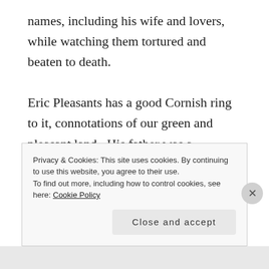names, including his wife and lovers, while watching them tortured and beaten to death.

Eric Pleasants has a good Cornish ring to it, connotations of our green and pleasant land.  His father was a gamekeeper with a limp and a lungful of poisoned gas, the legacy of the war to end all wars. Eric would have prospered nowadays, careful of what he ate, he never drank or smoked, a circus strongman and wrestler, he worshipped his body. War was a mug's game and he wasn't playing. He had no intention of joining up. Traffic lights were invented because nobody would give way. Bring me a
Privacy & Cookies: This site uses cookies. By continuing to use this website, you agree to their use.
To find out more, including how to control cookies, see here: Cookie Policy

Close and accept